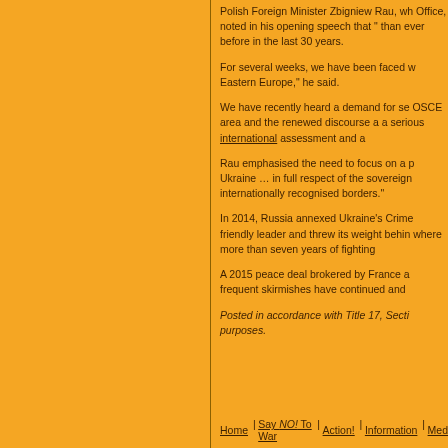Polish Foreign Minister Zbigniew Rau, wh Office, noted in his opening speech that " than ever before in the last 30 years.
For several weeks, we have been faced w Eastern Europe," he said.
We have recently heard a demand for se OSCE area and the renewed discourse a a serious international assessment and a
Rau emphasised the need to focus on a p Ukraine … in full respect of the sovereign internationally recognised borders."
In 2014, Russia annexed Ukraine's Crime friendly leader and threw its weight behin where more than seven years of fighting
A 2015 peace deal brokered by France a frequent skirmishes have continued and
Posted in accordance with Title 17, Secti purposes.
Home | Say NO! To War | Action! | Information | Med